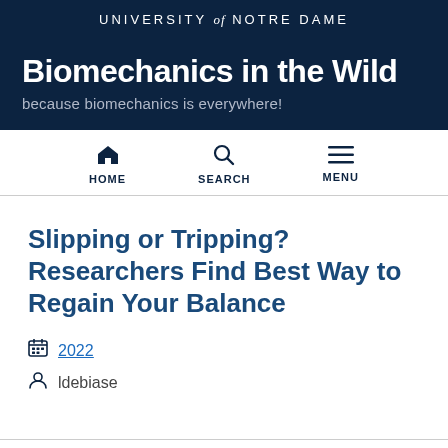UNIVERSITY of NOTRE DAME
Biomechanics in the Wild
because biomechanics is everywhere!
HOME  SEARCH  MENU
Slipping or Tripping? Researchers Find Best Way to Regain Your Balance
2022
ldebiase